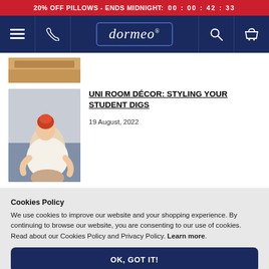20% OFF PILLOWS - ENDS MIDNIGHT: 00 : 00 : 42 : 33
[Figure (screenshot): Dormeo website navigation bar with hamburger menu, phone icon, Dormeo logo, search icon, and basket icon on dark navy background]
[Figure (photo): Partial thumbnail of a wooden surface/headboard — top article image cropped]
[Figure (photo): Student girl with red hair sitting on a bed, wearing a cream sweater, looking down]
UNI ROOM DÉCOR: STYLING YOUR STUDENT DIGS
19 August, 2022
Cookies Policy
We use cookies to improve our website and your shopping experience. By continuing to browse our website, you are consenting to our use of cookies. Read about our Cookies Policy and Privacy Policy. Learn more.
OK, GOT IT!